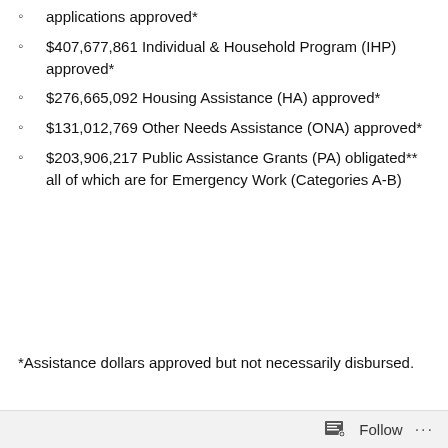applications approved*
$407,677,861 Individual & Household Program (IHP) approved*
$276,665,092 Housing Assistance (HA) approved*
$131,012,769 Other Needs Assistance (ONA) approved*
$203,906,217 Public Assistance Grants (PA) obligated** all of which are for Emergency Work (Categories A-B)
*Assistance dollars approved but not necessarily disbursed.
Follow